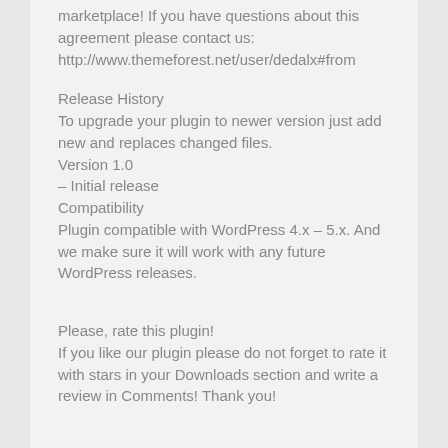marketplace! If you have questions about this agreement please contact us: http://www.themeforest.net/user/dedalx#from
Release History
To upgrade your plugin to newer version just add new and replaces changed files.
Version 1.0
– Initial release
Compatibility
Plugin compatible with WordPress 4.x – 5.x. And we make sure it will work with any future WordPress releases.
Please, rate this plugin!
If you like our plugin please do not forget to rate it with stars in your Downloads section and write a review in Comments! Thank you!